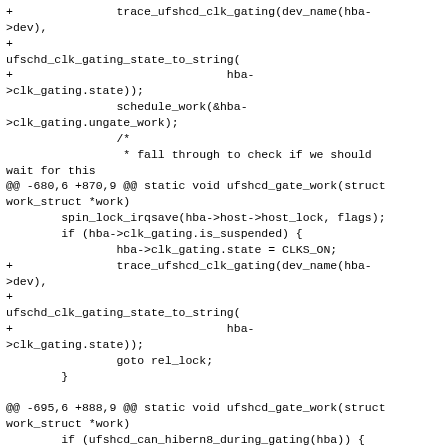+               trace_ufshcd_clk_gating(dev_name(hba->dev),
+
ufschd_clk_gating_state_to_string(
+                               hba->clk_gating.state));
                schedule_work(&hba->clk_gating.ungate_work);
                /*
                 * fall through to check if we should wait for this
@@ -680,6 +870,9 @@ static void ufshcd_gate_work(struct work_struct *work)
        spin_lock_irqsave(hba->host->host_lock, flags);
        if (hba->clk_gating.is_suspended) {
                hba->clk_gating.state = CLKS_ON;
+               trace_ufshcd_clk_gating(dev_name(hba->dev),
+
ufschd_clk_gating_state_to_string(
+                               hba->clk_gating.state));
                goto rel_lock;
        }

@@ -695,6 +888,9 @@ static void ufshcd_gate_work(struct work_struct work)
        if (ufshcd_can_hibern8_during_gating(hba)) {
                if (ufshcd_uic_hibern8_enter(hba)) {
                        hba->clk_gating.state =